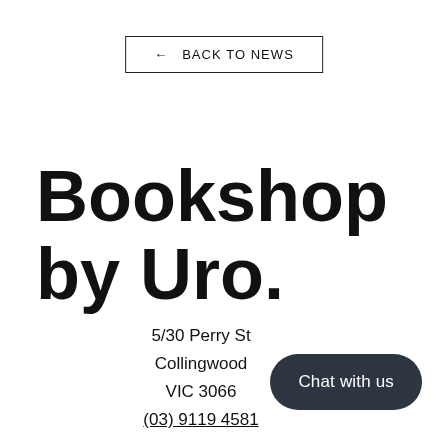← BACK TO NEWS
Bookshop by Uro.
5/30 Perry St
Collingwood
VIC 3066
(03) 9119 4581
Chat with us